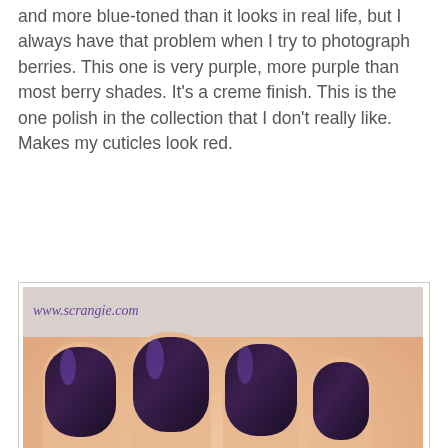and more blue-toned than it looks in real life, but I always have that problem when I try to photograph berries. This one is very purple, more purple than most berry shades. It's a creme finish. This is the one polish in the collection that I don't really like. Makes my cuticles look red.
[Figure (photo): Close-up photo of hand with deep dark purple nail polish applied, showing nail bottle in foreground. Watermark reads www.scrangie.com and Scrangie signature.]
[Figure (photo): Partial close-up photo of hand with dark purple nail polish, similar to above image. Watermark reads www.scrangie.com.]